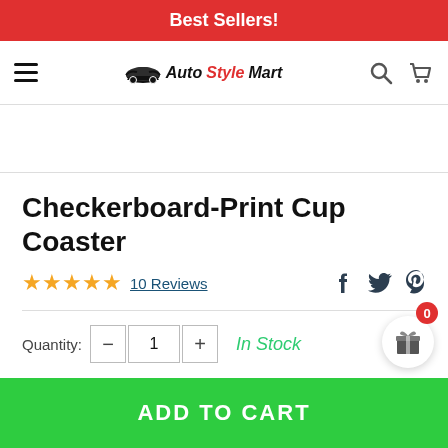Best Sellers!
[Figure (logo): Auto Style Mart logo with car silhouette icon and italic brand name]
Checkerboard-Print Cup Coaster
10 Reviews
Quantity: - 1 + In Stock
ADD TO CART